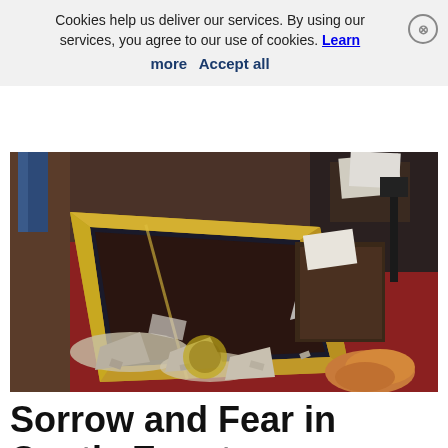Cookies help us deliver our services. By using our services, you agree to our use of cookies. Learn more   Accept all
[Figure (photo): A smashed golden icon frame lying on a dark red carpet amid broken plaster and debris inside what appears to be a Coptic church. People's legs visible in background. Items scattered on floor.]
Sorrow and Fear in Coptic Egypt